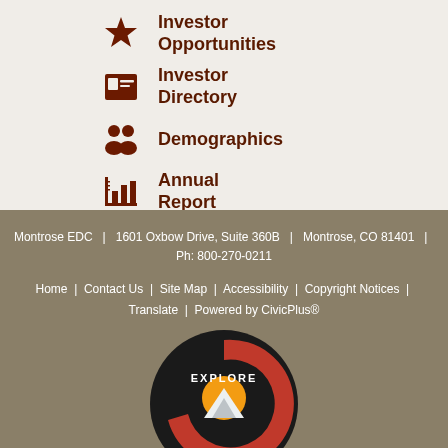Investor Opportunities
Investor Directory
Demographics
Annual Report
Montrose EDC  |  1601 Oxbow Drive, Suite 360B  |  Montrose, CO 81401  |  Ph: 800-270-0211
Home  |  Contact Us  |  Site Map  |  Accessibility  |  Copyright Notices  |  Translate  |  Powered by CivicPlus®
[Figure (logo): Explore Colorado C-shaped logo with mountain and sun imagery on dark background]